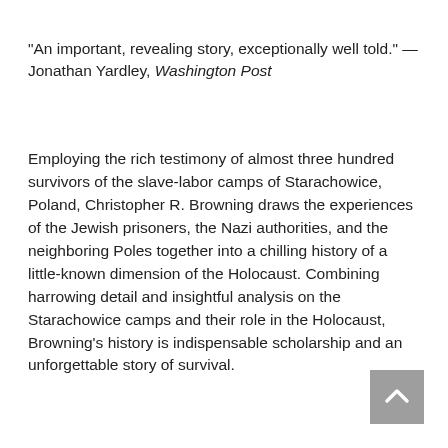"An important, revealing story, exceptionally well told." — Jonathan Yardley, Washington Post
Employing the rich testimony of almost three hundred survivors of the slave-labor camps of Starachowice, Poland, Christopher R. Browning draws the experiences of the Jewish prisoners, the Nazi authorities, and the neighboring Poles together into a chilling history of a little-known dimension of the Holocaust. Combining harrowing detail and insightful analysis on the Starachowice camps and their role in the Holocaust, Browning's history is indispensable scholarship and an unforgettable story of survival.
[Figure (other): Gray scroll-to-top button with upward-pointing chevron arrow, positioned at bottom right corner]